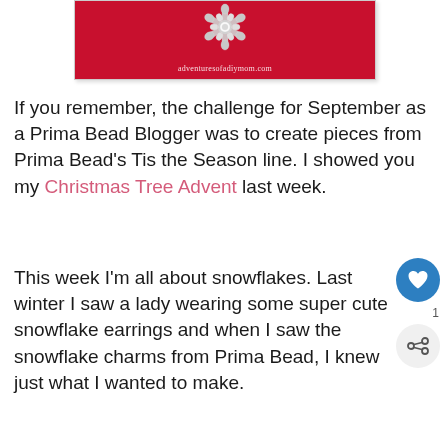[Figure (photo): Photo of a silver rhinestone snowflake brooch/charm on a red background, with watermark text 'adventuresofadiymom.com' at the bottom]
If you remember, the challenge for September as a Prima Bead Blogger was to create pieces from Prima Bead's Tis the Season line. I showed you my Christmas Tree Advent last week.
This week I'm all about snowflakes. Last winter I saw a lady wearing some super cute snowflake earrings and when I saw the snowflake charms from Prima Bead, I knew just what I wanted to make.